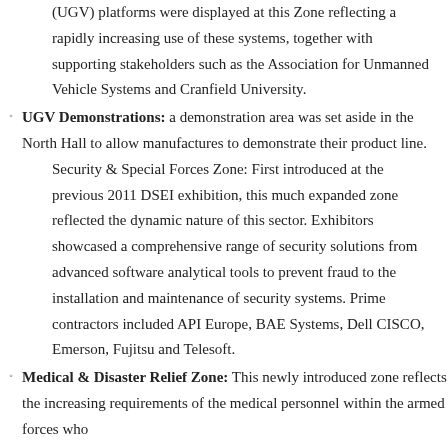(UGV) platforms were displayed at this Zone reflecting a rapidly increasing use of these systems, together with supporting stakeholders such as the Association for Unmanned Vehicle Systems and Cranfield University.
UGV Demonstrations: a demonstration area was set aside in the North Hall to allow manufactures to demonstrate their product line.
Security & Special Forces Zone: First introduced at the previous 2011 DSEI exhibition, this much expanded zone reflected the dynamic nature of this sector. Exhibitors showcased a comprehensive range of security solutions from advanced software analytical tools to prevent fraud to the installation and maintenance of security systems. Prime contractors included API Europe, BAE Systems, Dell CISCO, Emerson, Fujitsu and Telesoft.
Medical & Disaster Relief Zone: This newly introduced zone reflects the increasing requirements of the medical personnel within the armed forces who